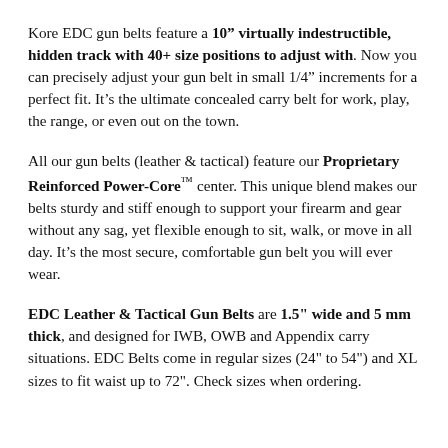Kore EDC gun belts feature a 10" virtually indestructible, hidden track with 40+ size positions to adjust with. Now you can precisely adjust your gun belt in small 1/4" increments for a perfect fit. It's the ultimate concealed carry belt for work, play, the range, or even out on the town.
All our gun belts (leather & tactical) feature our Proprietary Reinforced Power-Core™ center. This unique blend makes our belts sturdy and stiff enough to support your firearm and gear without any sag, yet flexible enough to sit, walk, or move in all day. It's the most secure, comfortable gun belt you will ever wear.
EDC Leather & Tactical Gun Belts are 1.5" wide and 5 mm thick, and designed for IWB, OWB and Appendix carry situations. EDC Belts come in regular sizes (24" to 54") and XL sizes to fit waist up to 72". Check sizes when ordering.